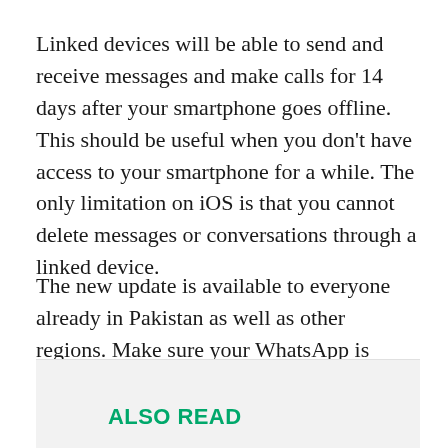Linked devices will be able to send and receive messages and make calls for 14 days after your smartphone goes offline. This should be useful when you don't have access to your smartphone for a while. The only limitation on iOS is that you cannot delete messages or conversations through a linked device.
The new update is available to everyone already in Pakistan as well as other regions. Make sure your WhatsApp is updated to the latest version. After that,  simply go into the “Linked Devices” option as mentioned before to get started.
ALSO READ